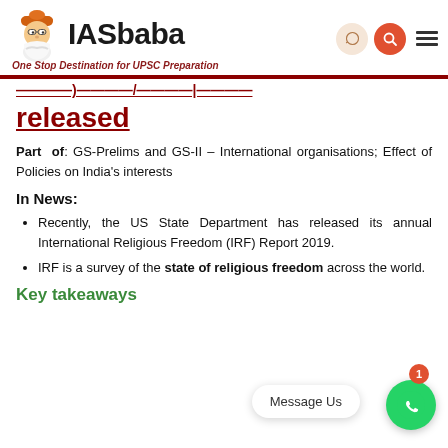IASbaba - One Stop Destination for UPSC Preparation
released
Part of: GS-Prelims and GS-II – International organisations; Effect of Policies on India's interests
In News:
Recently, the US State Department has released its annual International Religious Freedom (IRF) Report 2019.
IRF is a survey of the state of religious freedom across the world.
Key takeaways